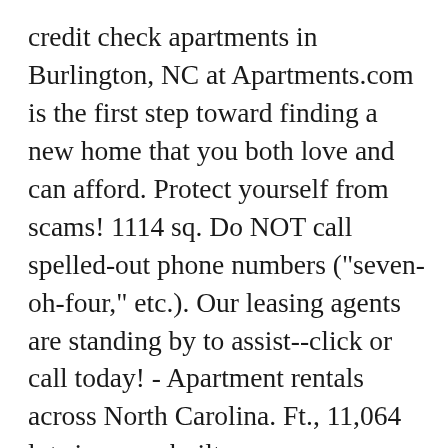credit check apartments in Burlington, NC at Apartments.com is the first step toward finding a new home that you both love and can afford. Protect yourself from scams! 1114 sq. Do NOT call spelled-out phone numbers ("seven-oh-four," etc.). Our leasing agents are standing by to assist--click or call today! - Apartment rentals across North Carolina. Ft., 11,064 lot size, was built ... Townhouse/condo has 3 beds, 2 baths, 1,824 sq. No credit check apartment rentals are available for renters with evictions, broken leases, foreclosures and bankruptcies. 203 Holt Ave, Greensboro, NC 27405. Official Burlington Homes for rent from $400 . HousingList.com is one of the best sources for